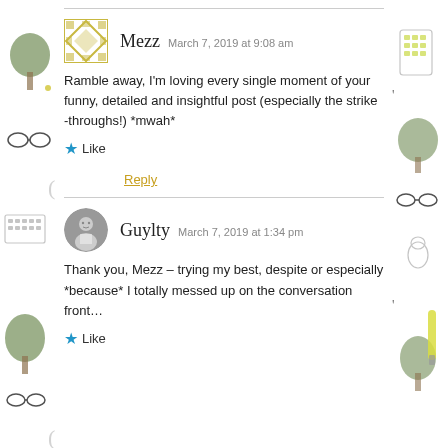Mezz  March 7, 2019 at 9:08 am
Ramble away, I'm loving every single moment of your funny, detailed and insightful post (especially the strike -throughs!) *mwah*
Like
Reply
Guylty  March 7, 2019 at 1:34 pm
Thank you, Mezz – trying my best, despite or especially *because* I totally messed up on the conversation front…
Like